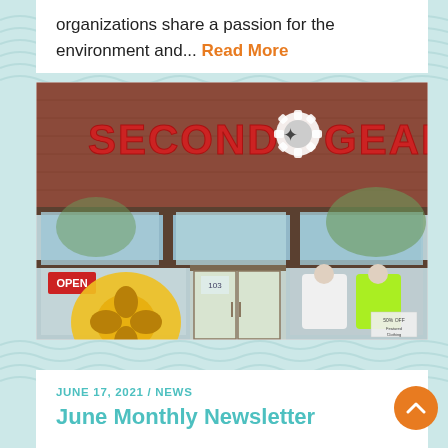organizations share a passion for the environment and... Read More
[Figure (photo): Exterior storefront photo of 'Second Gear' retail store in a brick building. The store has a large red 'SECOND GEAR' sign with a gear logo above large glass windows. A large yellow gear prop is visible on the left side near an 'OPEN' sign. The right window displays clothing mannequins including a white jacket and neon green jacket. Glass entrance doors are in the center.]
JUNE 17, 2021 / NEWS
June Monthly Newsletter